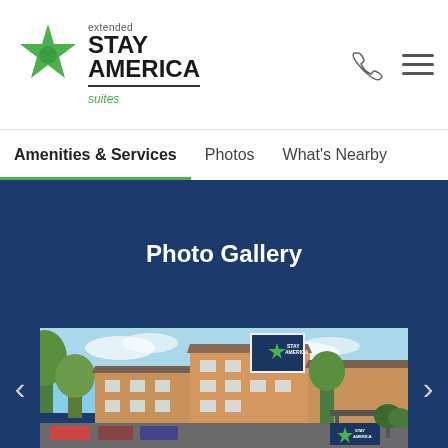[Figure (logo): Extended Stay America Suites logo with green star icon and text]
Amenities & Services	Photos	What's Nearby
Photo Gallery
[Figure (photo): Exterior photo of Extended Stay America hotel building with orange/tan facade, parking lot, trees, and blue sky]